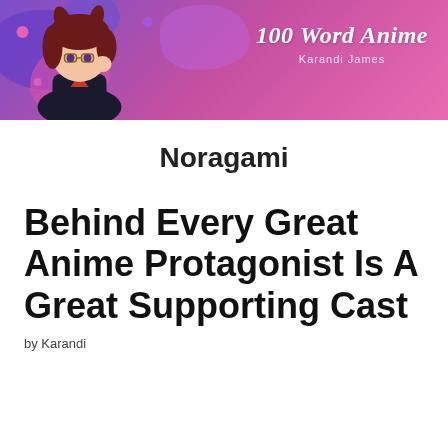[Figure (illustration): 100 Word Anime blog header banner with purple-pink gradient background, decorative blobs, anime-style female character on left, blog title '100 Word Anime' and subtitle 'Karandi James' on right]
Noragami
Behind Every Great Anime Protagonist Is A Great Supporting Cast
by Karandi